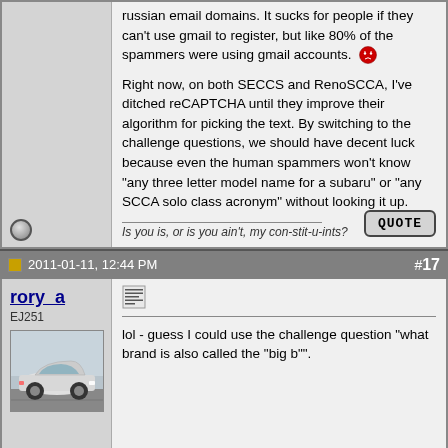russian email domains. It sucks for people if they can't use gmail to register, but like 80% of the spammers were using gmail accounts. Right now, on both SECCS and RenoSCCA, I've ditched reCAPTCHA until they improve their algorithm for picking the text. By switching to the challenge questions, we should have decent luck because even the human spammers won't know "any three letter model name for a subaru" or "any SCCA solo class acronym" without looking it up.
Is you is, or is you ain't, my con-stit-u-ints?
2011-01-11, 12:44 PM
#17
rory_a
EJ251
lol - guess I could use the challenge question "what brand is also called the "big b"".